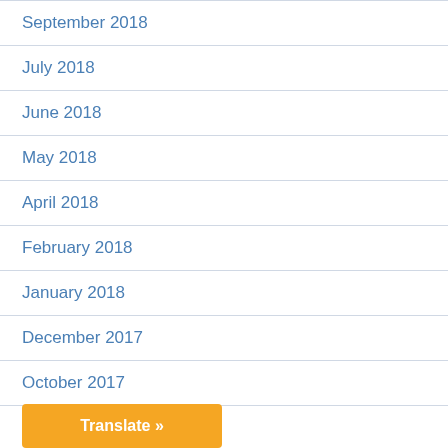September 2018
July 2018
June 2018
May 2018
April 2018
February 2018
January 2018
December 2017
October 2017
Translate »